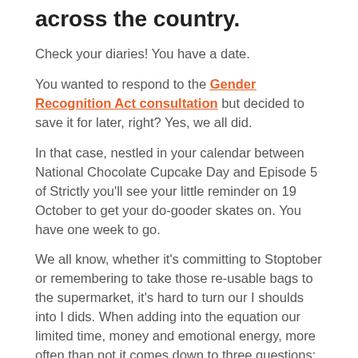across the country.
Check your diaries! You have a date.
You wanted to respond to the Gender Recognition Act consultation but decided to save it for later, right? Yes, we all did.
In that case, nestled in your calendar between National Chocolate Cupcake Day and Episode 5 of Strictly you'll see your little reminder on 19 October to get your do-gooder skates on. You have one week to go.
We all know, whether it's committing to Stoptober or remembering to take those re-usable bags to the supermarket, it's hard to turn our I shoulds into I dids. When adding into the equation our limited time, money and emotional energy, more often than not it comes down to three questions:
Is it that important?